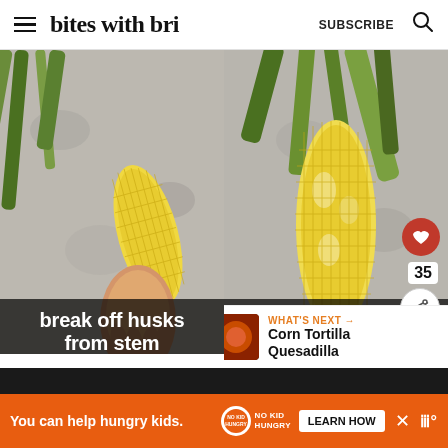bites with bri  SUBSCRIBE
[Figure (photo): Two side-by-side photos of corn on the cob being husked on a granite countertop. Left photo shows a hand holding a small husked ear of corn with green husks nearby. Right photo shows a larger husked corn cob lying on the granite surface with green leaves. Left caption: 'break off husks from stem'. Right caption: 'remove any remaining silks'. UI elements include a heart/favorite button, count badge '35', share button, and a 'WHAT'S NEXT: Corn Tortilla Quesadilla' panel.]
break off husks from stem
remove any remaining silks
WHAT'S NEXT → Corn Tortilla Quesadilla
You can help hungry kids.  NO KID HUNGRY  LEARN HOW